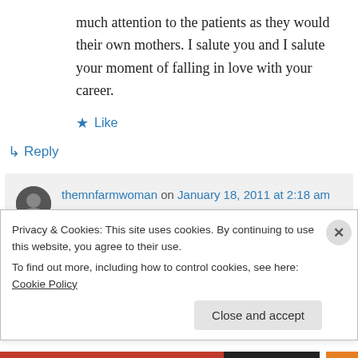much attention to the patients as they would their own mothers. I salute you and I salute your moment of falling in love with your career.
★ Like
↳ Reply
themnfarmwoman on January 18, 2011 at 2:18 am
Nancy, sometimes my patients would tell
Privacy & Cookies: This site uses cookies. By continuing to use this website, you agree to their use.
To find out more, including how to control cookies, see here: Cookie Policy
Close and accept